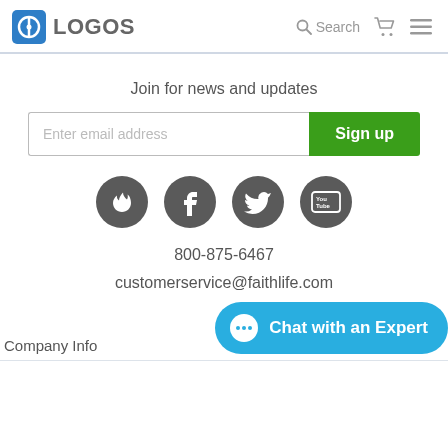LOGOS | Search
Join for news and updates
Enter email address  Sign up
[Figure (illustration): Four social media icon circles: Faithlife flame, Facebook f, Twitter bird, YouTube logo]
800-875-6467
customerservice@faithlife.com
Company Info
Chat with an Expert